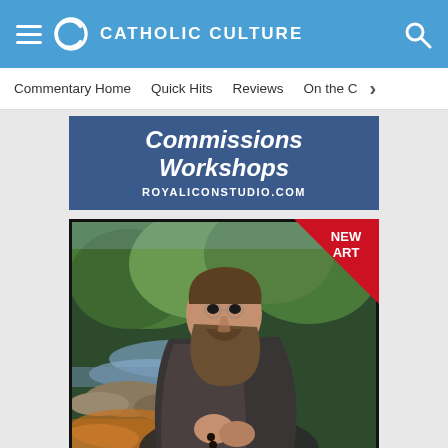CATHOLIC CULTURE
Commentary Home | Quick Hits | Reviews | On the C
[Figure (illustration): Ad banner for Royal Icon Studio showing 'Commissions Workshops ROYALICONSTUDIO.COM' on blue background]
[Figure (photo): Painting of a bearded monk or friar in dark robes holding a rosary, seated near a river with green trees in the background. Red 'NEW ART' badge in top-right corner.]